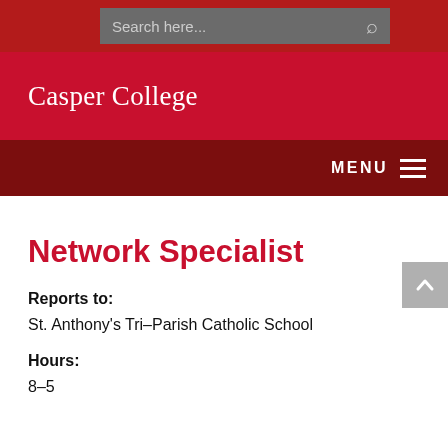Search here...
[Figure (logo): Casper College logo text in white on red background]
MENU
Network Specialist
Reports to:
St. Anthony's Tri-Parish Catholic School
Hours:
8-5